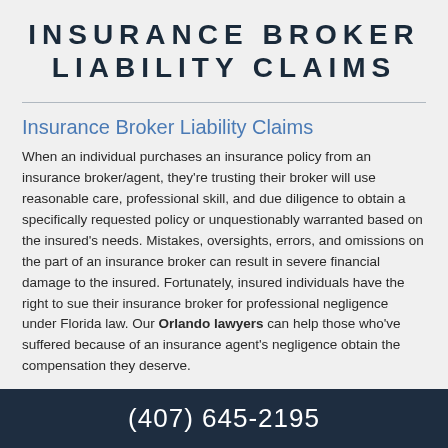INSURANCE BROKER LIABILITY CLAIMS
Insurance Broker Liability Claims
When an individual purchases an insurance policy from an insurance broker/agent, they're trusting their broker will use reasonable care, professional skill, and due diligence to obtain a specifically requested policy or unquestionably warranted based on the insured's needs. Mistakes, oversights, errors, and omissions on the part of an insurance broker can result in severe financial damage to the insured. Fortunately, insured individuals have the right to sue their insurance broker for professional negligence under Florida law. Our Orlando lawyers can help those who've suffered because of an insurance agent's negligence obtain the compensation they deserve.
(407) 645-2195